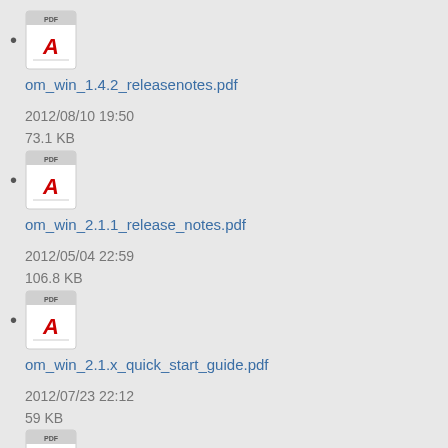om_win_1.4.2_releasenotes.pdf
2012/08/10 19:50
73.1 KB
om_win_2.1.1_release_notes.pdf
2012/05/04 22:59
106.8 KB
om_win_2.1.x_quick_start_guide.pdf
2012/07/23 22:12
59 KB
om_win_2.2.0_quick_start_guide.pdf